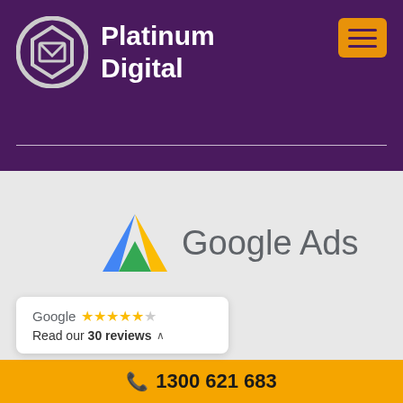[Figure (logo): Platinum Digital logo with hexagon icon and brand name in white text on purple background]
[Figure (logo): Google Ads logo with blue, yellow, green triangle icon and Google Ads text in grey]
[Figure (other): Google review card showing 4.5 stars and 30 reviews]
1300 621 683